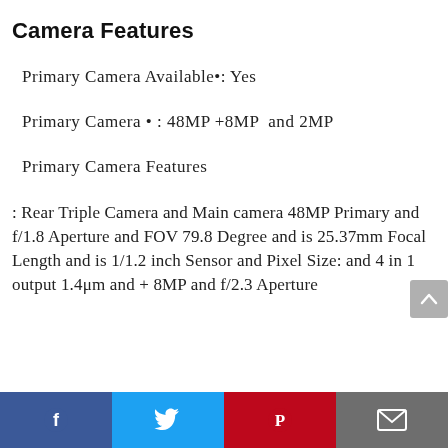Camera Features
Primary Camera Available•: Yes
Primary Camera • : 48MP +8MP  and 2MP
Primary Camera Features
: Rear Triple Camera and Main camera 48MP Primary and f/1.8 Aperture and FOV 79.8 Degree and is 25.37mm Focal Length and is 1/1.2 inch Sensor and Pixel Size: and 4 in 1 output 1.4μm and + 8MP and f/2.3 Aperture
Facebook | Twitter | Pinterest | Email